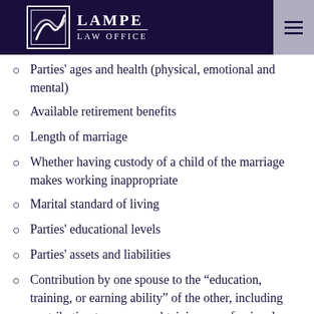LAMPE LAW OFFICE
Parties' ages and health (physical, emotional and mental)
Available retirement benefits
Length of marriage
Whether having custody of a child of the marriage makes working inappropriate
Marital standard of living
Parties' educational levels
Parties' assets and liabilities
Contribution by one spouse to the “education, training, or earning ability” of the other, including contribution to a spouse obtaining a professional degree